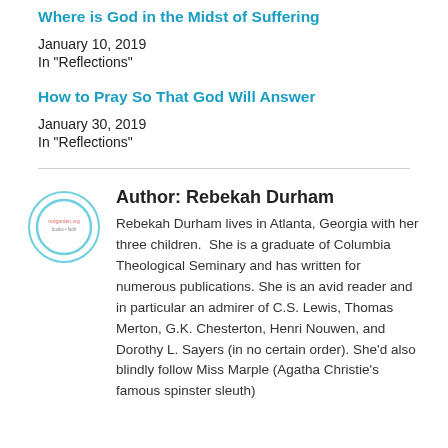Where is God in the Midst of Suffering
January 10, 2019
In "Reflections"
How to Pray So That God Will Answer
January 30, 2019
In "Reflections"
[Figure (logo): Circular avatar logo with teal border and small text inside]
Author: Rebekah Durham
Rebekah Durham lives in Atlanta, Georgia with her three children.  She is a graduate of Columbia Theological Seminary and has written for numerous publications. She is an avid reader and in particular an admirer of C.S. Lewis, Thomas Merton, G.K. Chesterton, Henri Nouwen, and Dorothy L. Sayers (in no certain order). She'd also blindly follow Miss Marple (Agatha Christie's famous spinster sleuth)